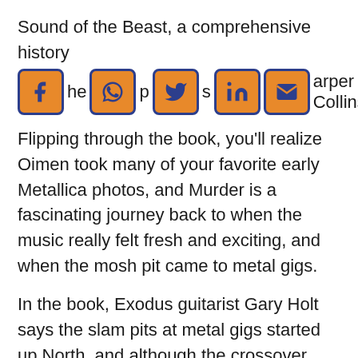Sound of the Beast, a comprehensive history of the metal press, published by Harper Collins.
Flipping through the book, you'll realize Oimen took many of your favorite early Metallica photos, and Murder is a fascinating journey back to when the music really felt fresh and exciting, and when the mosh pit came to metal gigs.
In the book, Exodus guitarist Gary Holt says the slam pits at metal gigs started up North, and although the crossover between metal and punk at first didn't come easy, and it initially